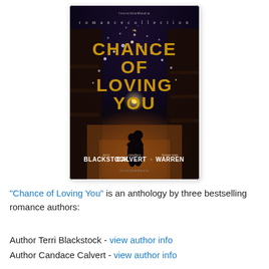[Figure (illustration): Book cover for 'Chance of Loving You' — a romance collection anthology by Terri Blackstock, Candace Calvert, and Susan May Warren. Dark nighttime street scene with string lights overhead, silhouettes of a couple embracing, warm amber light. Title text in large gold/amber letters. Publisher mark at top and bottom.]
"Chance of Loving You" is an anthology by three bestselling romance authors:
Author Terri Blackstock - view author info
Author Candace Calvert - view author info